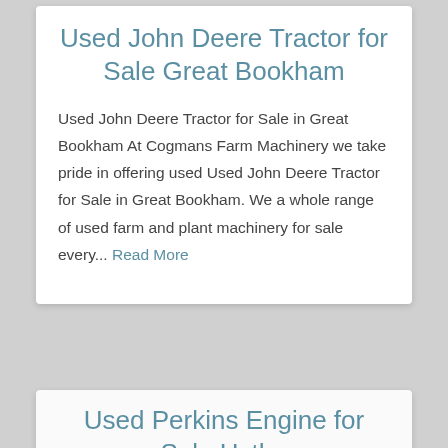Used John Deere Tractor for Sale Great Bookham
Used John Deere Tractor for Sale in Great Bookham At Cogmans Farm Machinery we take pride in offering used Used John Deere Tractor for Sale in Great Bookham. We a whole range of used farm and plant machinery for sale every... Read More
Used Perkins Engine for Sale Hythe